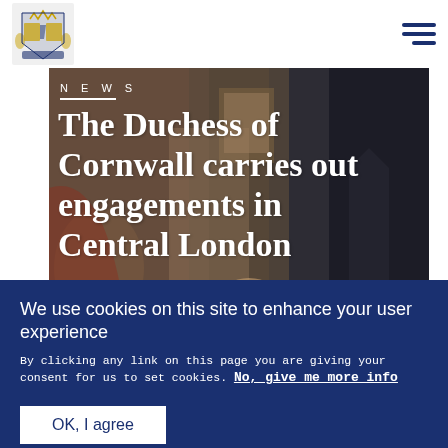Royal Family website header with coat of arms logo and hamburger menu
[Figure (photo): Photo of the Duchess of Cornwall at an engagement in Central London, showing people in formal attire with a painting visible in the background]
NEWS
The Duchess of Cornwall carries out engagements in Central London
We use cookies on this site to enhance your user experience
By clicking any link on this page you are giving your consent for us to set cookies. No, give me more info
OK, I agree